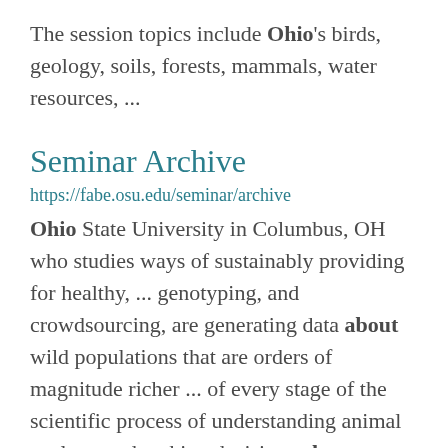The session topics include Ohio's birds, geology, soils, forests, mammals, water resources, ...
Seminar Archive
https://fabe.osu.edu/seminar/archive
Ohio State University in Columbus, OH who studies ways of sustainably providing for healthy, ... genotyping, and crowdsourcing, are generating data about wild populations that are orders of magnitude richer ... of every stage of the scientific process of understanding animal ecology and making decisions about ...